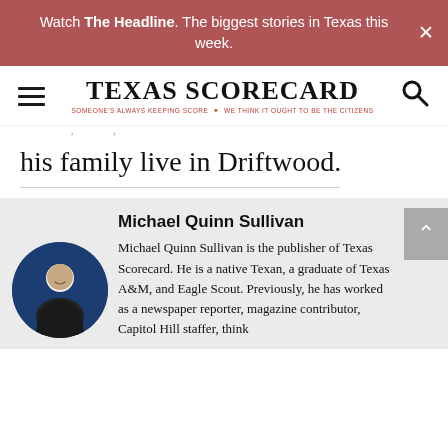Watch The Headline. The biggest stories in Texas this week.
[Figure (logo): Texas Scorecard logo with hamburger menu and search icon. Tagline: SOMEONE'S ALWAYS KEEPING SCORE · WE THINK IT OUGHT TO BE THE CITIZENS]
his family live in Driftwood.
Michael Quinn Sullivan
Michael Quinn Sullivan is the publisher of Texas Scorecard. He is a native Texan, a graduate of Texas A&M, and Eagle Scout. Previously, he has worked as a newspaper reporter, magazine contributor, Capitol Hill staffer, think